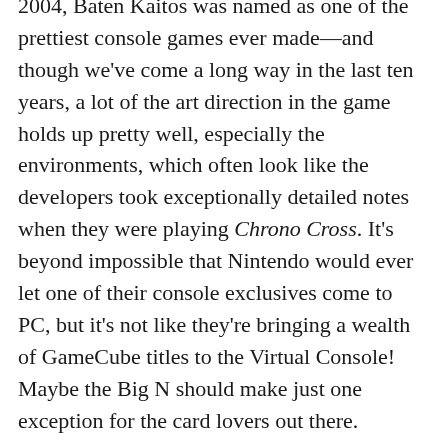2004, Baten Kaitos was named as one of the prettiest console games ever made—and though we've come a long way in the last ten years, a lot of the art direction in the game holds up pretty well, especially the environments, which often look like the developers took exceptionally detailed notes when they were playing Chrono Cross. It's beyond impossible that Nintendo would ever let one of their console exclusives come to PC, but it's not like they're bringing a wealth of GameCube titles to the Virtual Console! Maybe the Big N should make just one exception for the card lovers out there.